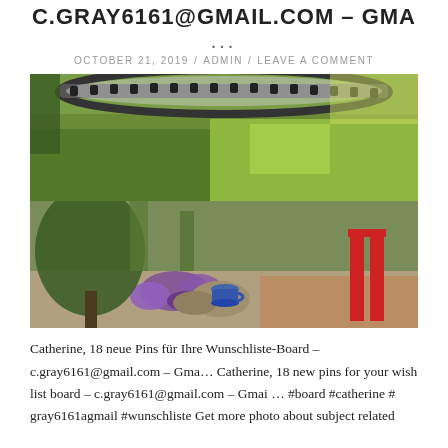C.GRAY6161@GMAIL.COM – GMA
...
OCTOBER 21, 2019 / ADMIN / LEAVE A COMMENT
[Figure (photo): Two stacked garden photos: top shows a trampoline on green grass in sunlight; bottom shows a garden scene with purple flowers, a blue teacup on a stone, and a red chair with fallen leaves.]
Catherine, 18 neue Pins für Ihre Wunschliste-Board – c.gray6161@gmail.com – Gma… Catherine, 18 new pins for your wish list board – c.gray6161@gmail.com – Gmai … #board #catherine #gray6161agmail #wunschliste Get more photo about subject related